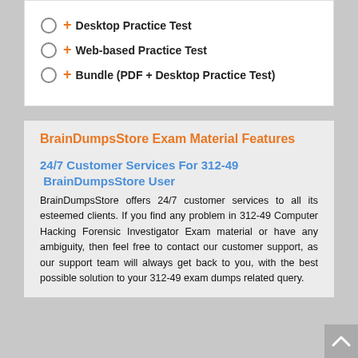+ Desktop Practice Test
+ Web-based Practice Test
+ Bundle (PDF + Desktop Practice Test)
BrainDumpsStore Exam Material Features
24/7 Customer Services For 312-49 BrainDumpsStore User
BrainDumpsStore offers 24/7 customer services to all its esteemed clients. If you find any problem in 312-49 Computer Hacking Forensic Investigator Exam material or have any ambiguity, then feel free to contact our customer support, as our support team will always get back to you, with the best possible solution to your 312-49 exam dumps related query.